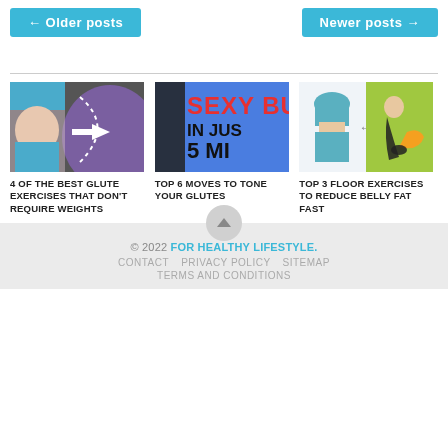← Older posts    Newer posts →
[Figure (photo): Fitness article card image: best glute exercises, showing a woman's lower body with dotted curve and arrow on dark background]
4 OF THE BEST GLUTE EXERCISES THAT DON'T REQUIRE WEIGHTS
[Figure (photo): Fitness article card image: text reading 'SEXY BU IN JUS 5 MI' on blue background]
TOP 6 MOVES TO TONE YOUR GLUTES
[Figure (photo): Fitness article card image: illustrated woman before/after showing floor exercises for belly fat]
TOP 3 FLOOR EXERCISES TO REDUCE BELLY FAT FAST
© 2022 FOR HEALTHY LIFESTYLE. CONTACT PRIVACY POLICY SITEMAP TERMS AND CONDITIONS